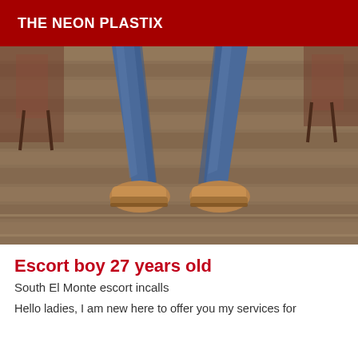THE NEON PLASTIX
[Figure (photo): Lower body of a person wearing blue jeans and tan/brown shoes, standing with legs apart on a wooden floor. Background shows chairs and reddish wooden furniture.]
Escort boy 27 years old
South El Monte escort incalls
Hello ladies, I am new here to offer you my services for